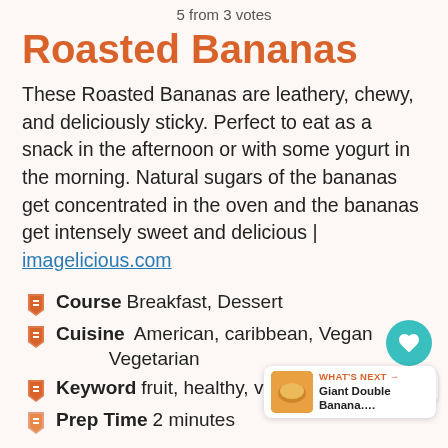5 from 3 votes
Roasted Bananas
These Roasted Bananas are leathery, chewy, and deliciously sticky. Perfect to eat as a snack in the afternoon or with some yogurt in the morning. Natural sugars of the bananas get concentrated in the oven and the bananas get intensely sweet and delicious | imagelicious.com
Course  Breakfast, Dessert
Cuisine  American, caribbean, Vegan Vegetarian
Keyword  fruit, healthy, vegan
Prep Time  2 minutes